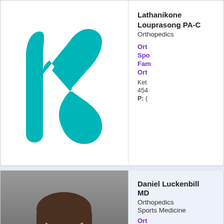[Figure (logo): Teal abstract logo resembling letter K made of curved shapes]
Lathanikone Louprasong PA-C
Orthopedics
Ort
Spo
Fam
Ort
Ket
454
P: (
[Figure (photo): Professional headshot of Daniel Luckenbill MD, smiling man with dark hair]
Daniel Luckenbill MD
Orthopedics
Sports Medicine
Ort
Spo
Fam
Ort
Bea
454
P: (